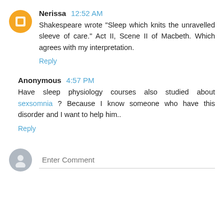Nerissa 12:52 AM
Shakespeare wrote "Sleep which knits the unravelled sleeve of care." Act II, Scene II of Macbeth. Which agrees with my interpretation.
Reply
Anonymous 4:57 PM
Have sleep physiology courses also studied about sexsomnia ? Because I know someone who have this disorder and I want to help him..
Reply
Enter Comment